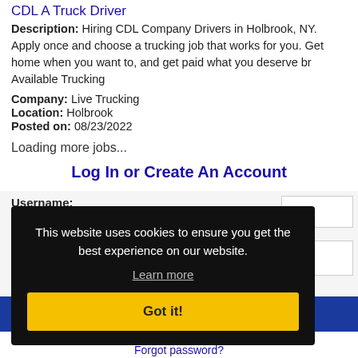CDL A Truck Driver
Description: Hiring CDL Company Drivers in Holbrook, NY. Apply once and choose a trucking job that works for you. Get home when you want to, and get paid what you deserve br Available Trucking
Company: Live Trucking
Location: Holbrook
Posted on: 08/23/2022
Loading more jobs...
Log In or Create An Account
Username:
Password:
Log In
This website uses cookies to ensure you get the best experience on our website. Learn more Got it!
Forgot password?